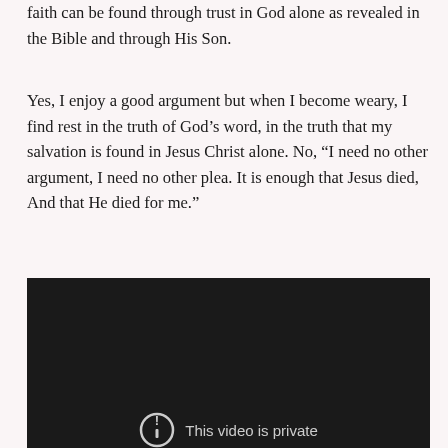faith can be found through trust in God alone as revealed in the Bible and through His Son.
Yes, I enjoy a good argument but when I become weary, I find rest in the truth of God’s word, in the truth that my salvation is found in Jesus Christ alone. No, “I need no other argument, I need no other plea. It is enough that Jesus died, And that He died for me.”
[Figure (screenshot): A dark/black video embed thumbnail showing a private video notice with a circle-exclamation icon and text 'This video is private' at the bottom.]